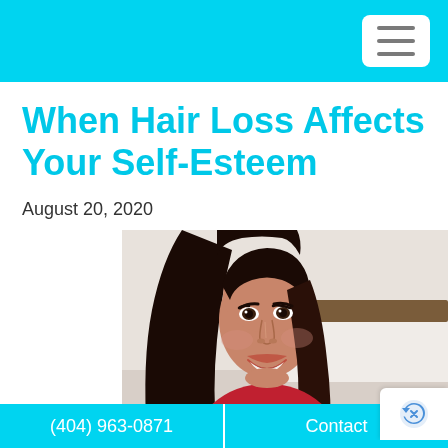When Hair Loss Affects Your Self-Esteem
August 20, 2020
[Figure (photo): Smiling woman with long dark hair wearing a red top, photographed indoors with a blurred white background]
(404) 963-0871  Contact